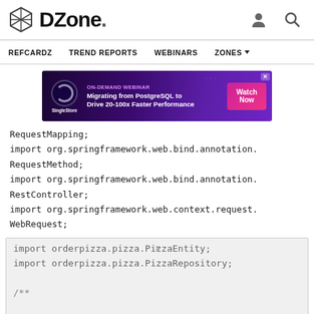DZone. [user icon] [search icon]
REFCARDZ  TREND REPORTS  WEBINARS  ZONES
[Figure (screenshot): DZone advertisement banner: ON-DEMAND WEBINAR - Migrating from PostgreSQL to Drive 20-100x Faster Performance. SingleStore logo on left, Watch Now CTA button on right. Purple gradient background.]
RequestMapping;
import org.springframework.web.bind.annotation.RequestMethod;
import org.springframework.web.bind.annotation.RestController;
import org.springframework.web.context.request.WebRequest;
import orderpizza.pizza.PizzaEntity;
import orderpizza.pizza.PizzaRepository;

/**